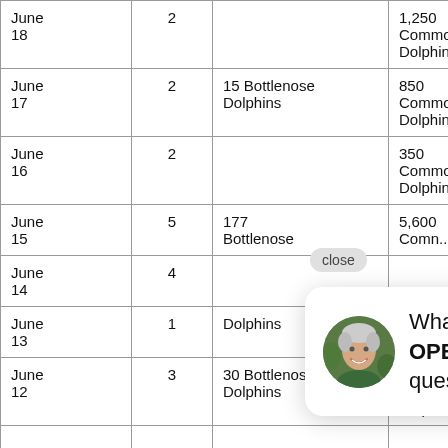| Date | Trips | Bottlenose Dolphins | Common Dolphins |
| --- | --- | --- | --- |
| June 18 | 2 |  | 1,250 Common Dolphins |
| June 17 | 2 | 15 Bottlenose Dolphins | 850 Common Dolphins |
| June 16 | 2 |  | 350 Common Dolphins |
| June 15 | 5 | 177 Bottlenose | 5,600 Comn... |
| June 14 | 4 |  |  |
| June 13 | 1 | Dolphins | Common Dolphins |
| June 12 | 3 | 30 Bottlenose Dolphins | 200 Common Dolphins |
[Figure (screenshot): Chat popup with woman avatar: 'Whale, hi there! We are OPEN & SAFE. Have a question? Text us.' with close button.]